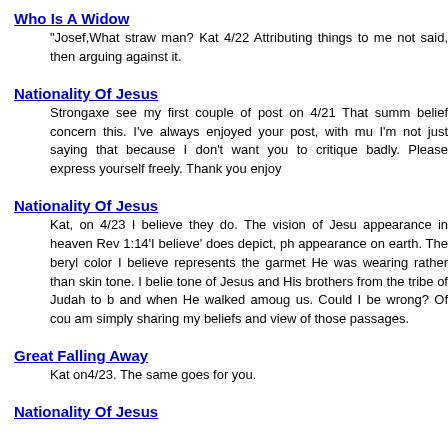Who Is A Widow
"Josef,What straw man? Kat 4/22 Attributing things to me not said, then arguing against it.
Nationality Of Jesus
Strongaxe see my first couple of post on 4/21 That summ belief concern this. I've always enjoyed your post, with mu I'm not just saying that because I don't want you to critique badly. Please express yourself freely. Thank you enjoy
Nationality Of Jesus
Kat, on 4/23 I believe they do. The vision of Jesu appearance in heaven Rev 1:14'I believe' does depict, ph appearance on earth. The beryl color I believe represents the garmet He was wearing rather than skin tone. I belie tone of Jesus and His brothers from the tribe of Judah to b and when He walked amoug us. Could I be wrong? Of cou am simply sharing my beliefs and view of those passages.
Great Falling Away
Kat on4/23. The same goes for you.
Nationality Of Jesus